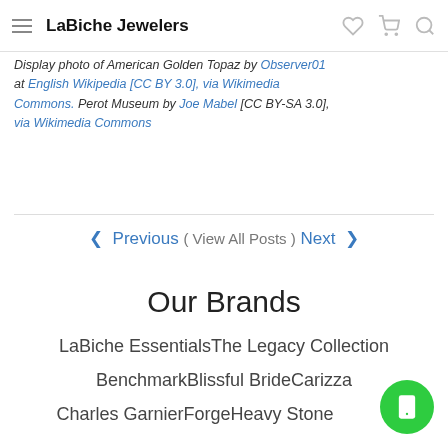LaBiche Jewelers
Display photo of American Golden Topaz by Observer01 at English Wikipedia [CC BY 3.0], via Wikimedia Commons. Perot Museum by Joe Mabel [CC BY-SA 3.0], via Wikimedia Commons
◄ Previous ( View All Posts ) Next ►
Our Brands
LaBiche EssentialsThe Legacy Collection
BenchmarkBlissful BrideCarizza
Charles GarnierForgeHeavy Stone
Jewelry By RandyMaloMardiniPromezza